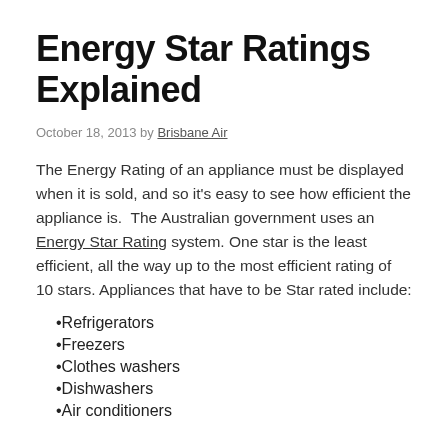Energy Star Ratings Explained
October 18, 2013 by Brisbane Air
The Energy Rating of an appliance must be displayed when it is sold, and so it's easy to see how efficient the appliance is.  The Australian government uses an Energy Star Rating system. One star is the least efficient, all the way up to the most efficient rating of 10 stars. Appliances that have to be Star rated include:
Refrigerators
Freezers
Clothes washers
Dishwashers
Air conditioners